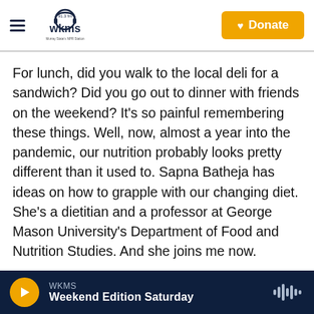WKMS 91.3 FM — Murray State's NPR Station | Donate
For lunch, did you walk to the local deli for a sandwich? Did you go out to dinner with friends on the weekend? It's so painful remembering these things. Well, now, almost a year into the pandemic, our nutrition probably looks pretty different than it used to. Sapna Batheja has ideas on how to grapple with our changing diet. She's a dietitian and a professor at George Mason University's Department of Food and Nutrition Studies. And she joins me now.
Welcome to the program.
WKMS — Weekend Edition Saturday